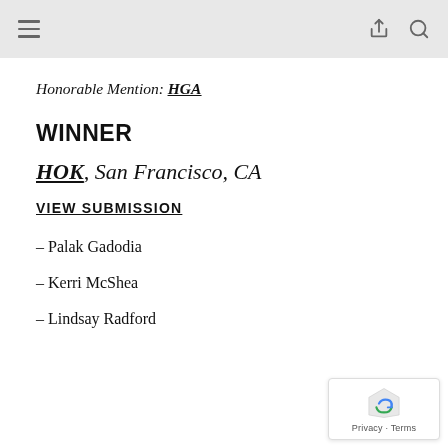Honorable Mention: HGA
WINNER
HOK, San Francisco, CA
VIEW SUBMISSION
– Palak Gadodia
– Kerri McShea
– Lindsay Radford